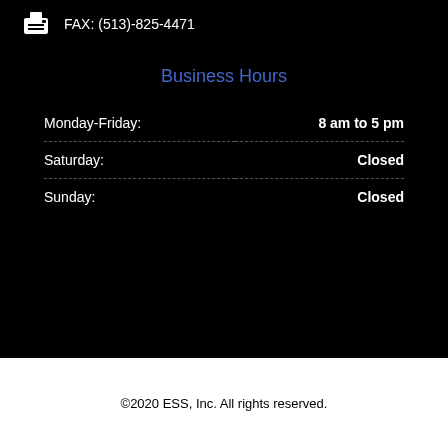FAX: (513)-825-4471
Business Hours
| Day | Hours |
| --- | --- |
| Monday-Friday: | 8 am to 5 pm |
| Saturday: | Closed |
| Sunday: | Closed |
©2020 ESS, Inc. All rights reserved.